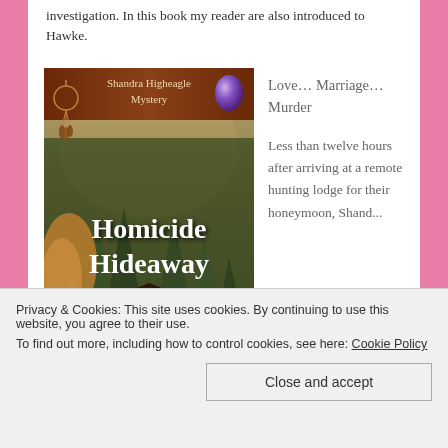investigation. In this book my reader are also introduced to Hawke.
[Figure (illustration): Book cover for 'Homicide Hideaway' - a Shandra Higheagle Mystery. Shows a forest/wilderness scene with a log cabin, evergreen trees, and moody sky. Has a decorative banner at top, dreamcatcher decoration on left, purple orb on right, and large bold white text reading 'Homicide Hideaway' at bottom.]
Love… Marriage… Murder

Less than twelve hours after arriving at a remote hunting lodge for their honeymoon, Shandra...
Privacy & Cookies: This site uses cookies. By continuing to use this website, you agree to their use.
To find out more, including how to control cookies, see here: Cookie Policy
Close and accept